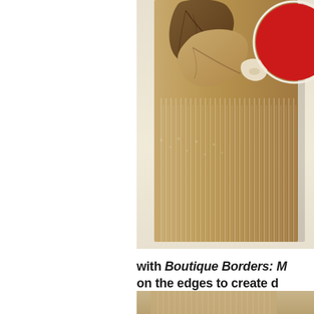[Figure (photo): Close-up photo of a decorative kraft paper card with leaf/floral die-cut elements on top, a red glitter heart or circular embellishment, and vertical silver/white striped texture on the lower half. Shot against a cream/ivory background.]
with Boutique Borders: M on the edges to create d
[Figure (photo): Bottom partial photo showing another decorative crafting item, partially cropped.]